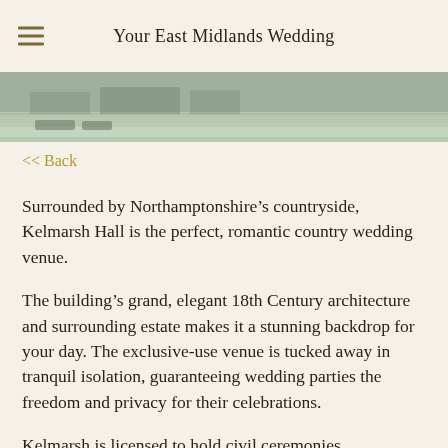Your East Midlands Wedding
[Figure (photo): Partial view of a building or estate, cropped at top of page]
<< Back
Surrounded by Northamptonshire’s countryside, Kelmarsh Hall is the perfect, romantic country wedding venue.
The building’s grand, elegant 18th Century architecture and surrounding estate makes it a stunning backdrop for your day. The exclusive-use venue is tucked away in tranquil isolation, guaranteeing wedding parties the freedom and privacy for their celebrations.
Kelmarsh is licensed to hold civil ceremonies